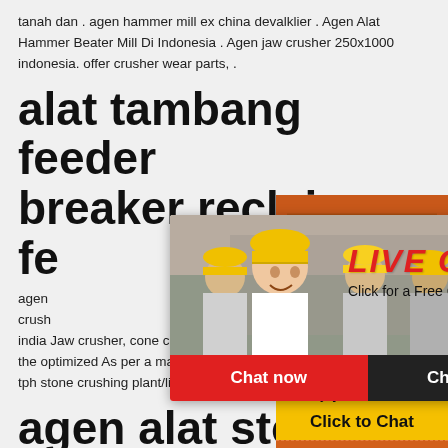tanah dan . agen hammer mill ex china devalklier . Agen Alat Hammer Beater Mill Di Indonesia . Agen jaw crusher 250x1000 indonesia. offer crusher wear parts, .
alat tambang feeder breaker reclaim fe
agen crush india Jaw crusher, cone crusher and impact cr the optimized As per a manufacturer, the total tph stone crushing plant/line will be Rs. 75 to 80 lakos.
[Figure (photo): Live chat popup overlay with photo of workers in hard hats and LIVE CHAT text, Chat now and Chat later buttons]
[Figure (photo): Right sidebar with orange background showing mining/crushing machine images, discount offer, enquiry and email contact]
agen alat stone breaker Vietnam -